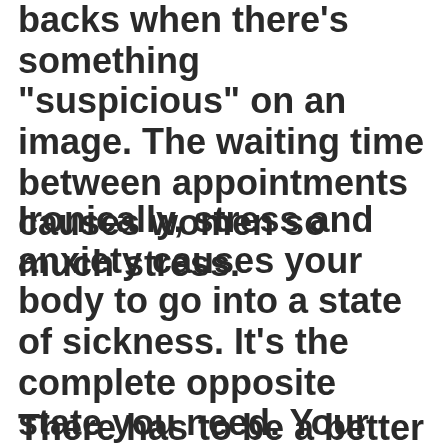backs when there's something "suspicious" on an image. The waiting time between appointments causes women so much stress.
Ironically, stress and anxiety causes your body to go into a state of sickness. It's the complete opposite state you need. Your body and mind have amazing abilities to heal when you get into a calm state.
There has to be a better way.